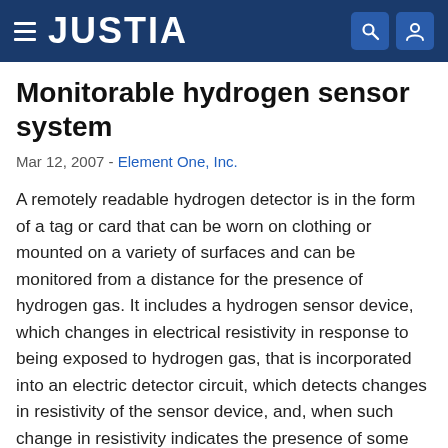JUSTIA
Monitorable hydrogen sensor system
Mar 12, 2007 - Element One, Inc.
A remotely readable hydrogen detector is in the form of a tag or card that can be worn on clothing or mounted on a variety of surfaces and can be monitored from a distance for the presence of hydrogen gas. It includes a hydrogen sensor device, which changes in electrical resistivity in response to being exposed to hydrogen gas, that is incorporated into an electric detector circuit, which detects changes in resistivity of the sensor device, and, when such change in resistivity indicates the presence of some predetermined concentration of hydrogen gas, the electric circuit outputs a signal or state that indicates the presence of hydrogen to a